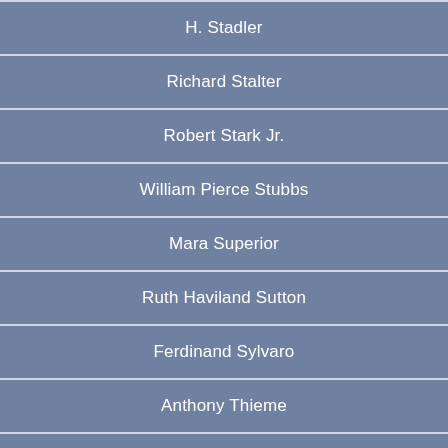H. Stadler
Richard Stalter
Robert Stark Jr.
William Pierce Stubbs
Mara Superior
Ruth Haviland Sutton
Ferdinand Sylvaro
Anthony Thieme
Tim Thompson